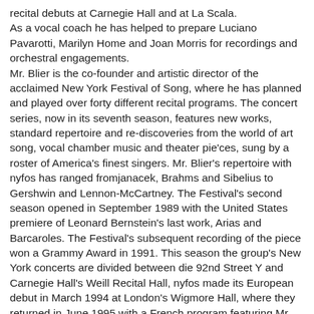recital debuts at Carnegie Hall and at La Scala. As a vocal coach he has helped to prepare Luciano Pavarotti, Marilyn Home and Joan Morris for recordings and orchestral engagements. Mr. Blier is the co-founder and artistic director of the acclaimed New York Festival of Song, where he has planned and played over forty different recital programs. The concert series, now in its seventh season, features new works, standard repertoire and re-discoveries from the world of art song, vocal chamber music and theater pie'ces, sung by a roster of America's finest singers. Mr. Blier's repertoire with nyfos has ranged fromjanacek, Brahms and Sibelius to Gershwin and Lennon-McCartney. The Festival's second season opened in September 1989 with the United States premiere of Leonard Bernstein's last work, Arias and Barcaroles. The Festival's subsequent recording of the piece won a Grammy Award in 1991. This season the group's New York concerts are divided between die 92nd Street Y and Carnegie Hall's Weill Recital Hall, nyfos made its European debut in March 1994 at London's Wigmore Hall, where they returned in June 1995 with a French program featuring Mr. Blier, Lorraine Hunt and Kurt Ollmann. One of Mr. Blier's primary musical col?laborations has been with baritone William Sharp. Highlights of their teamwork